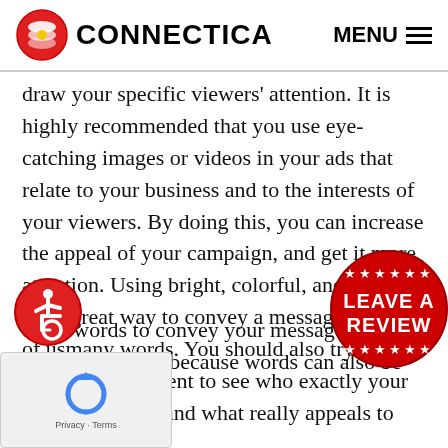CONNECTICA — MENU
draw your specific viewers' attention. It is highly recommended that you use eye-catching images or videos in your ads that relate to your business and to the interests of your viewers. By doing this, you can increase the appeal of your campaign, and get it more attention. Using bright, colorful, and quality images is a great way to convey a message instead of using many words. You should also try to post multiple ads as an experiment to see who exactly your target market is and what really appeals to them.
[Figure (logo): Red accessibility icon — wheelchair user symbol in a red circle]
[Figure (logo): Red circular badge with white stars and text LEAVE A REVIEW]
u use words to convey your message on your gns is also vital, because words can also be
[Figure (logo): reCAPTCHA Privacy - Terms box in bottom left corner]